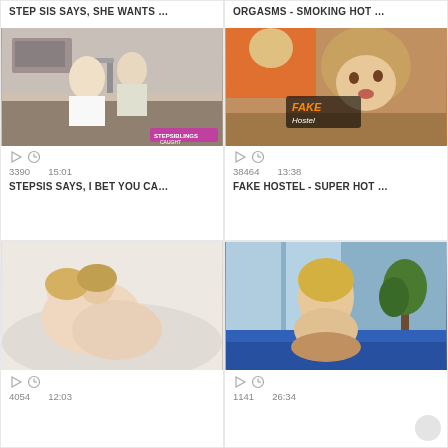STEP SIS SAYS, SHE WANTS ...
ORGASMS - SMOKING HOT ...
[Figure (photo): Two people in a kitchen near a sink, blonde woman in white top]
[Figure (photo): Curly-haired woman with orange-shirted person, Fake Hostel branding]
3390   15:01
38464   13:38
STEPSIS SAYS, I BET YOU CA...
FAKE HOSTEL - SUPER HOT ...
[Figure (photo): Two women on white bed]
[Figure (photo): Blonde woman on blue couch with man]
4054   12:03
1141   26:34